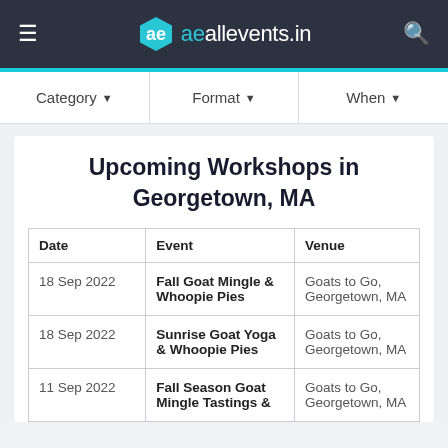allevents.in
Category ▼   Format ▼   When ▼
Upcoming Workshops in Georgetown, MA
| Date | Event | Venue |
| --- | --- | --- |
| 18 Sep 2022 | Fall Goat Mingle & Whoopie Pies | Goats to Go, Georgetown, MA |
| 18 Sep 2022 | Sunrise Goat Yoga & Whoopie Pies | Goats to Go, Georgetown, MA |
| 11 Sep 2022 | Fall Season Goat Mingle Tastings & | Goats to Go, Georgetown, MA |